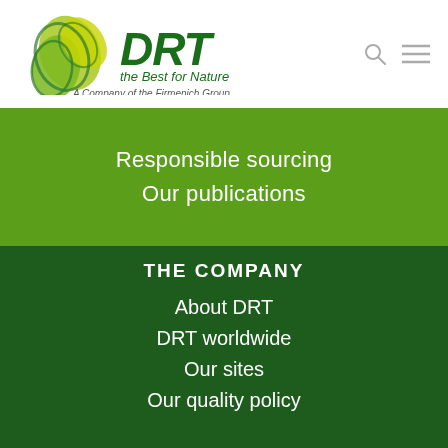[Figure (logo): DRT logo with leaf/flame graphic, text 'DRT the Best for Nature', subtitle 'A Company of the Firmenich Group']
Responsible sourcing
Our publications
THE COMPANY
About DRT
DRT worldwide
Our sites
Our quality policy